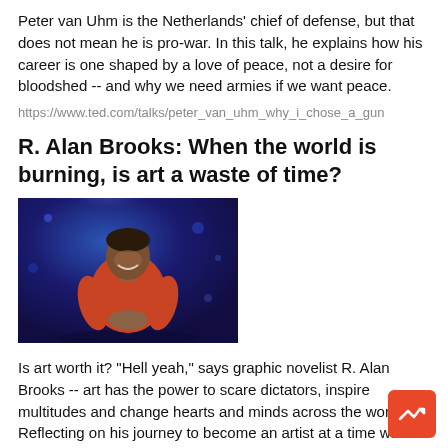Peter van Uhm is the Netherlands' chief of defense, but that does not mean he is pro-war. In this talk, he explains how his career is one shaped by a love of peace, not a desire for bloodshed -- and why we need armies if we want peace.
https://www.ted.com/talks/peter_van_uhm_why_i_chose_a_gun
R. Alan Brooks: When the world is burning, is art a waste of time?
[Figure (photo): Photo of R. Alan Brooks on stage, wearing a red t-shirt, smiling, with blue stage lighting behind him]
Is art worth it? "Hell yeah," says graphic novelist R. Alan Brooks -- art has the power to scare dictators, inspire multitudes and change hearts and minds across the world. Reflecting on his journey to become an artist at a time when the world felt like it was burning, Brooks shares how creating something from a place of sincerity and passion ca...
https://www.ted.com/talks/r_alan_brooks_when_the_world